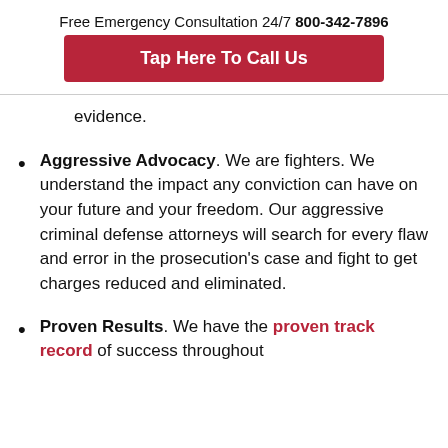Free Emergency Consultation 24/7 800-342-7896
Tap Here To Call Us
evidence.
Aggressive Advocacy. We are fighters. We understand the impact any conviction can have on your future and your freedom. Our aggressive criminal defense attorneys will search for every flaw and error in the prosecution's case and fight to get charges reduced and eliminated.
Proven Results. We have the proven track record of success throughout